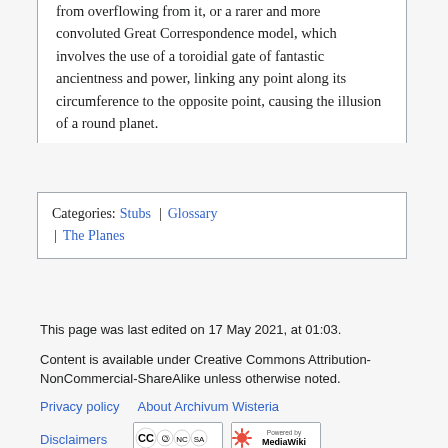from overflowing from it, or a rarer and more convoluted Great Correspondence model, which involves the use of a toroidial gate of fantastic ancientness and power, linking any point along its circumference to the opposite point, causing the illusion of a round planet.
Categories: Stubs | Glossary | The Planes
This page was last edited on 17 May 2021, at 01:03.
Content is available under Creative Commons Attribution-NonCommercial-ShareAlike unless otherwise noted.
Privacy policy   About Archivum Wisteria
Disclaimers